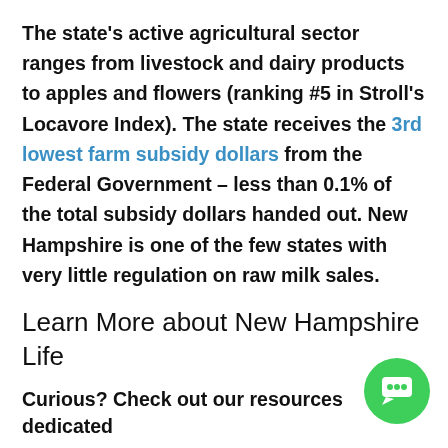The state's active agricultural sector ranges from livestock and dairy products to apples and flowers (ranking #5 in Stroll's Locavore Index). The state receives the 3rd lowest farm subsidy dollars from the Federal Government – less than 0.1% of the total subsidy dollars handed out. New Hampshire is one of the few states with very little regulation on raw milk sales.
Learn More about New Hampshire Life
Curious? Check out our resources dedicated